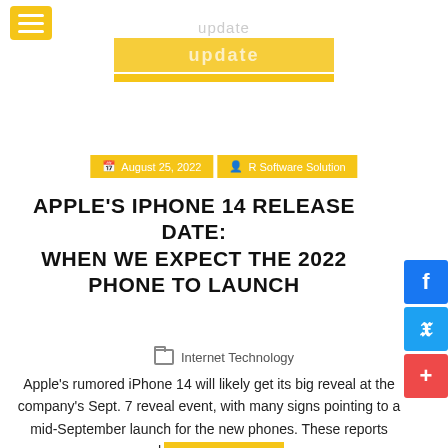update
[Figure (logo): Website logo/banner with yellow background and gold bar]
August 25, 2022  R Software Solution
APPLE'S IPHONE 14 RELEASE DATE: WHEN WE EXPECT THE 2022 PHONE TO LAUNCH
Internet Technology
Apple's rumored iPhone 14 will likely get its big reveal at the company's Sept. 7 reveal event, with many signs pointing to a mid-September launch for the new phones. These reports have bee